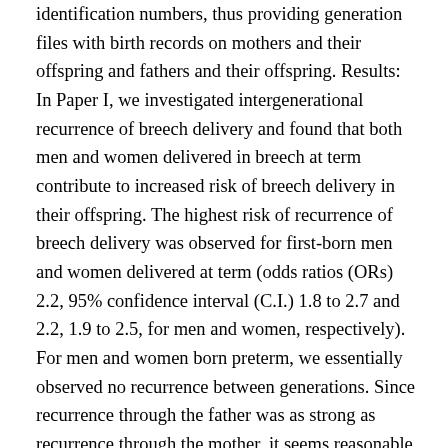identification numbers, thus providing generation files with birth records on mothers and their offspring and fathers and their offspring. Results: In Paper I, we investigated intergenerational recurrence of breech delivery and found that both men and women delivered in breech at term contribute to increased risk of breech delivery in their offspring. The highest risk of recurrence of breech delivery was observed for first-born men and women delivered at term (odds ratios (ORs) 2.2, 95% confidence interval (C.I.) 1.8 to 2.7 and 2.2, 1.9 to 2.5, for men and women, respectively). For men and women born preterm, we essentially observed no recurrence between generations. Since recurrence through the father was as strong as recurrence through the mother, it seems reasonable to attribute the observed pattern of familial predisposition to term breech delivery to genetic inheritance, predominantly through the fetus. In Paper II, we examined the associations between parents' gestational age and birth weight and perinatal mortality in their offspring. Perinatal mortality in